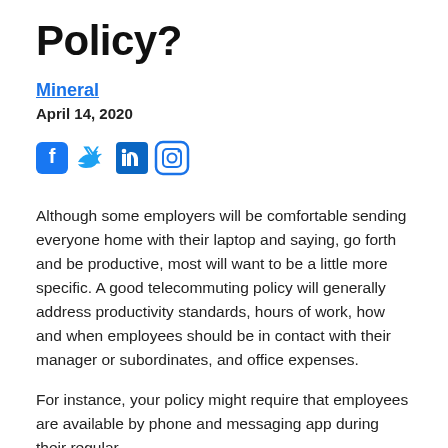Policy?
Mineral
April 14, 2020
[Figure (infographic): Social media icons: Facebook, Twitter, LinkedIn, Instagram]
Although some employers will be comfortable sending everyone home with their laptop and saying, go forth and be productive, most will want to be a little more specific. A good telecommuting policy will generally address productivity standards, hours of work, how and when employees should be in contact with their manager or subordinates, and office expenses.
For instance, your policy might require that employees are available by phone and messaging app during their regular